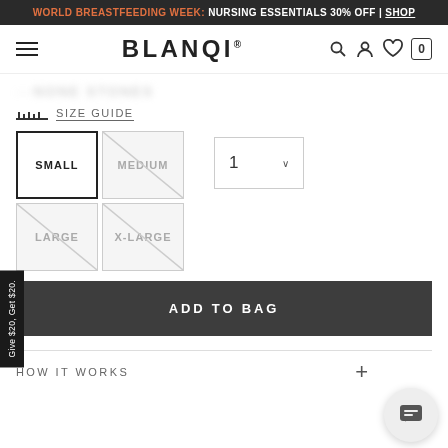WORLD BREASTFEEDING WEEK: NURSING ESSENTIALS 30% OFF | SHOP
[Figure (screenshot): BLANQI logo with hamburger menu, search, account, heart, and cart icons]
SIZE GUIDE
SMALL | MEDIUM | LARGE | X-LARGE size selector buttons, quantity dropdown showing 1
ADD TO BAG
Give $20, Get $20. (side tab)
HOW IT WORKS
[Figure (screenshot): Chat support button (speech bubble icon)]